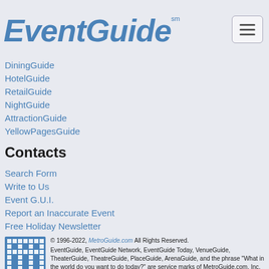EventGuide℠
DiningGuide
HotelGuide
RetailGuide
NightGuide
AttractionGuide
YellowPagesGuide
Contacts
Search Form
Write to Us
Event G.U.I.
Report an Inaccurate Event
Free Holiday Newsletter
© 1996-2022, MetroGuide.com All Rights Reserved. EventGuide, EventGuide Network, EventGuide Today, VenueGuide, TheaterGuide, TheatreGuide, PlaceGuide, ArenaGuide, and the phrase "What in the world do you want to do today?" are service marks of MetroGuide.com, Inc. All other trademarks are the property of their respective owners. The eventguide.com domain is used under license.